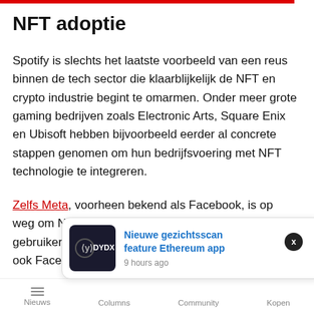NFT adoptie
Spotify is slechts het laatste voorbeeld van een reus binnen de tech sector die klaarblijkelijk de NFT en crypto industrie begint te omarmen. Onder meer grote gaming bedrijven zoals Electronic Arts, Square Enix en Ubisoft hebben bijvoorbeeld eerder al concrete stappen genomen om hun bedrijfsvoering met NFT technologie te integreren.
Zelfs Meta, voorheen bekend als Facebook, is op weg om NFT's functionaliteiten te bieden aan gebruikers op Instagram en wellicht in de toekomst ook Facebook. De trend van adopt
[Figure (screenshot): Notification popup for DYDX app showing 'Nieuwe gezichtsscan feature Ethereum app' posted 9 hours ago, with DYDX logo on dark background.]
Nieuws  Columns  Community  Kopen